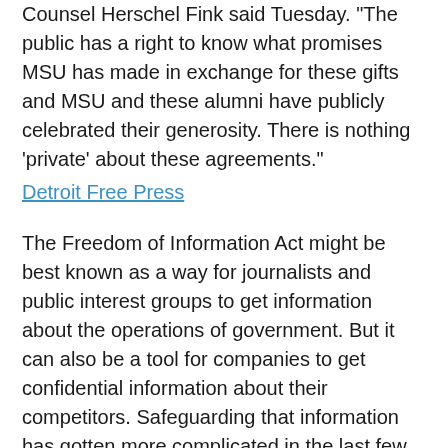Counsel Herschel Fink said Tuesday. "The public has a right to know what promises MSU has made in exchange for these gifts and MSU and these alumni have publicly celebrated their generosity. There is nothing 'private' about these agreements."
Detroit Free Press
The Freedom of Information Act might be best known as a way for journalists and public interest groups to get information about the operations of government. But it can also be a tool for companies to get confidential information about their competitors. Safeguarding that information has gotten more complicated in the last few years. Because the state of the law around the FOIA exemption that applies to things like trade secrets, it's all in flux. Nathan Castellano is a special counsel in the government contracts group at Jenner and Block. He wrote a recent briefing paper about these complications and talked about them with